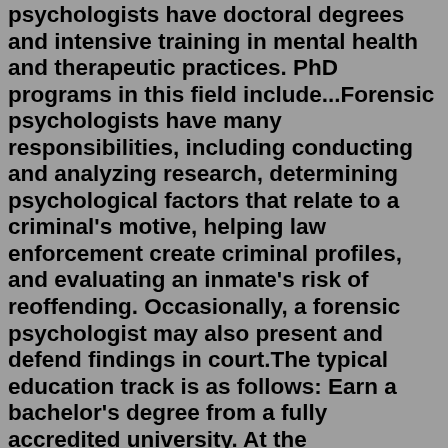psychologists have doctoral degrees and intensive training in mental health and therapeutic practices. PhD programs in this field include...Forensic psychologists have many responsibilities, including conducting and analyzing research, determining psychological factors that relate to a criminal's motive, helping law enforcement create criminal profiles, and evaluating an inmate's risk of reoffending. Occasionally, a forensic psychologist may also present and defend findings in court.The typical education track is as follows: Earn a bachelor's degree from a fully accredited university. At the undergraduate level, most aspiring forensic psychologists complete a Bachelor's Degree in Psychology with a minor in Criminal Justice, Criminology, or Pre-Law. It is important to note that a bachelor's degree does not guarantee ... However, people usually become a school psychologist by completing three key steps: Earn an advanced degree in school psychology Complete supervised field experience (such as a 1,200 hour supervised